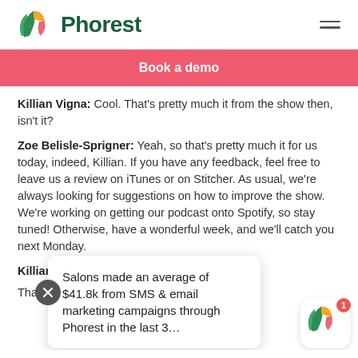Phorest
Book a demo
Killian Vigna: Cool. That's pretty much it from the show then, isn't it?
Zoe Belisle-Sprigner: Yeah, so that's pretty much it for us today, indeed, Killian. If you have any feedback, feel free to leave us a review on iTunes or on Stitcher. As usual, we're always looking for suggestions on how to improve the show. We're working on getting our podcast onto Spotify, so stay tuned! Otherwise, have a wonderful week, and we'll catch you next Monday.
Killian Vigna: A...
Thanks for rec...
Salons made an average of $41.8k from SMS & email marketing campaigns through Phorest in the last 3...